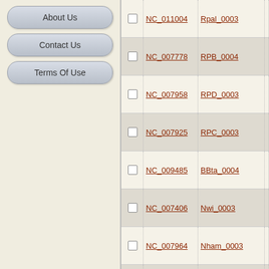About Us
Contact Us
Terms Of Use
|  | Accession | Gene | Description |
| --- | --- | --- | --- |
| ☐ | NC_011004 | Rpal_0003 | reco prot |
| ☐ | NC_007778 | RPB_0004 | reco prot |
| ☐ | NC_007958 | RPD_0003 | reco prot |
| ☐ | NC_007925 | RPC_0003 | reco prot |
| ☐ | NC_009485 | BBta_0004 | reco prot |
| ☐ | NC_007406 | Nwi_0003 | reco prot |
| ☐ | NC_007964 | Nham_0003 | reco prot |
| ☐ | NC_009720 | Xaut_0003 | reco prot |
|  |  |  | DNA |